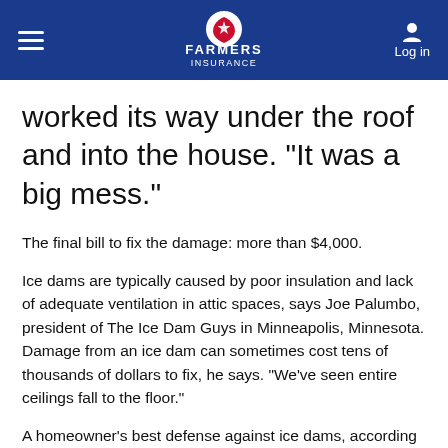Farmers Insurance
worked its way under the roof and into the house. "It was a big mess."
The final bill to fix the damage: more than $4,000.
Ice dams are typically caused by poor insulation and lack of adequate ventilation in attic spaces, says Joe Palumbo, president of The Ice Dam Guys in Minneapolis, Minnesota. Damage from an ice dam can sometimes cost tens of thousands of dollars to fix, he says. "We've seen entire ceilings fall to the floor."
A homeowner's best defense against ice dams, according to Palumbo: a home energy audit with a blower door test—which can cost $200 to $650, depending on the service and your